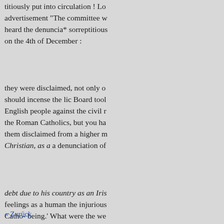titiously put into circulation ! Lo advertisement "The committee w heard the denuncia* sorreptitious on the 4th of December :
they were disclaimed, not only o should incense the lic Board tool English people against the civil r the Roman Catholics, but you ha them disclaimed from a higher m Christian, as a a denunciation of
debt due to his country as an Iris feelings as a human the injurious Catho- being.' What were the we resulted from these denecessity d
, authentic nunciations by Mr. disclaimer come forward from th gentleman, with England himsel all the board at his back, was app the result, as re
« Zurück